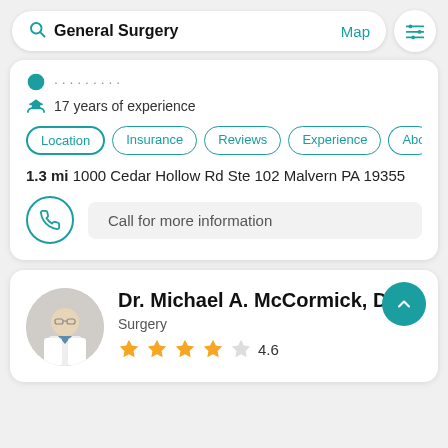General Surgery  Map
17 years of experience
Location
Insurance
Reviews
Experience
Abo
1.3 mi 1000 Cedar Hollow Rd Ste 102 Malvern PA 19355
Call for more information
Dr. Michael A. McCormick, D.O.
Surgery
4.6